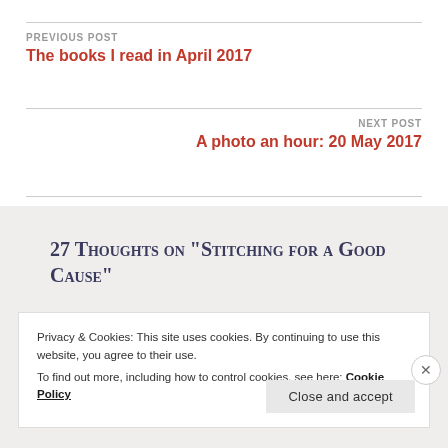PREVIOUS POST
The books I read in April 2017
NEXT POST
A photo an hour: 20 May 2017
27 THOUGHTS ON “STITCHING FOR A GOOD CAUSE”
Privacy & Cookies: This site uses cookies. By continuing to use this website, you agree to their use.
To find out more, including how to control cookies, see here: Cookie Policy
Close and accept